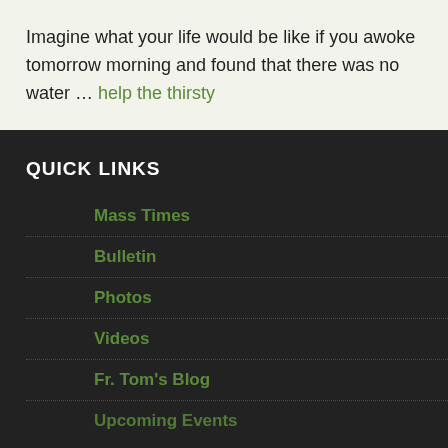Imagine what your life would be like if you awoke tomorrow morning and found that there was no water … help the thirsty
QUICK LINKS
Mass Times
Bulletin
Photos
Videos
Fr. Tom's Blog
Upcoming Events